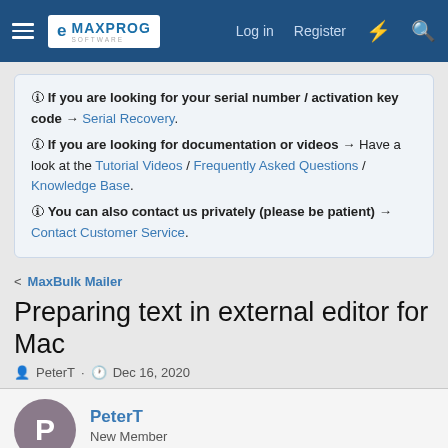MAXPROG SOFTWARE — Log in  Register
🛈 If you are looking for your serial number / activation key code → Serial Recovery.
🛈 If you are looking for documentation or videos → Have a look at the Tutorial Videos / Frequently Asked Questions / Knowledge Base.
🛈 You can also contact us privately (please be patient) → Contact Customer Service.
< MaxBulk Mailer
Preparing text in external editor for Mac
PeterT · Dec 16, 2020
PeterT
New Member
Dec 16, 2020  #1
I had problems for some time now with this...